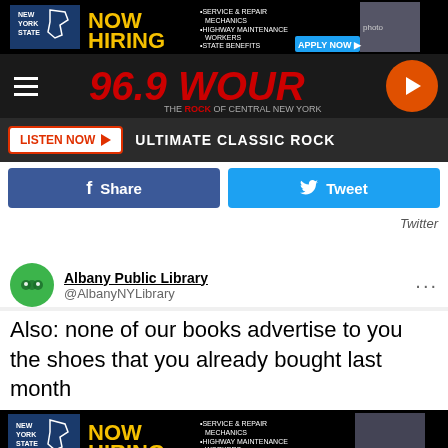[Figure (screenshot): New York State NOW HIRING advertisement banner - top]
[Figure (logo): 96.9 WOUR The Rock of Central New York radio station header with hamburger menu and play button]
LISTEN NOW ▶  ULTIMATE CLASSIC ROCK
f Share   Tweet
Twitter
Albany Public Library @AlbanyNYLibrary
Also: none of our books advertise to you the shoes that you already bought last month
[Figure (screenshot): New York State NOW HIRING advertisement banner - bottom]